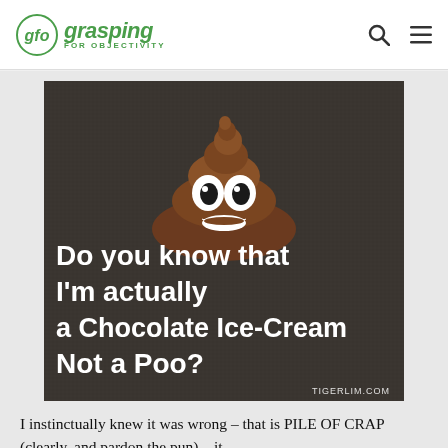gfo grasping FOR OBJECTIVITY
[Figure (photo): A poop emoji (pile of poo) 3D object on a dark textured background with white bold text reading: 'Do you know that I'm actually a Chocolate Ice-Cream Not a Poo?' with 'TIGERLIM.COM' watermark in the bottom right corner.]
I instinctually knew it was wrong – that is PILE OF CRAP (clearly, and pardon the pun) – it